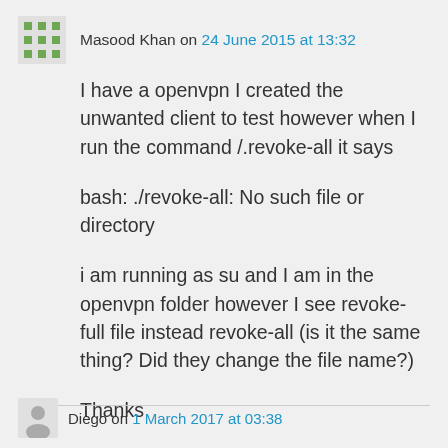Masood Khan on 24 June 2015 at 13:32
I have a openvpn I created the unwanted client to test however when I run the command /.revoke-all it says
bash: ./revoke-all: No such file or directory
i am running as su and I am in the openvpn folder however I see revoke-full file instead revoke-all (is it the same thing? Did they change the file name?)
Thanks
↳ Reply
Diego on 1 March 2017 at 03:38